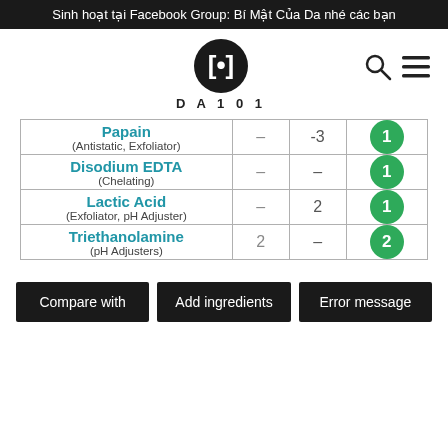Sinh hoạt tại Facebook Group: Bí Mật Của Da nhé các bạn
[Figure (logo): DA101 logo: black circle with white bracket-like symbol inside, text DA101 below]
| Ingredient |  |  |  |
| --- | --- | --- | --- |
| Papain (Antistatic, Exfoliator) | – | -3 | 1 |
| Disodium EDTA (Chelating) | – | – | 1 |
| Lactic Acid (Exfoliator, pH Adjuster) | – | 2 | 1 |
| Triethanolamine (pH Adjusters) | 2 | – | 2 |
Compare with
Add ingredients
Error message